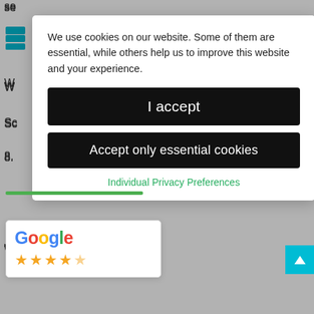We use cookies on our website. Some of them are essential, while others help us to improve this website and your experience.
I accept
Accept only essential cookies
Individual Privacy Preferences
be required)
CPD costs covered (when applicable)
Opportunity to work with a friendly and experienced team of professionals
Competitive rates upon qualification and
ent
d supportive environment
TOIL
[Figure (other): Google review widget showing Google logo and 4.5 star rating]